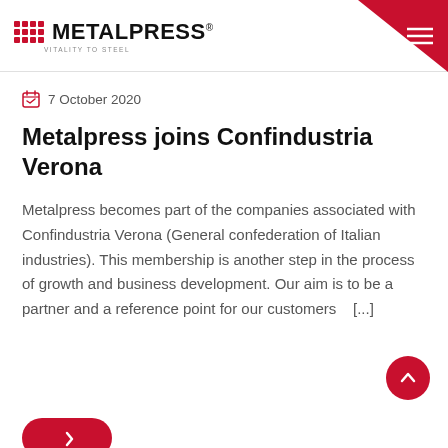METALPRESS® — vitality to steel
7 October 2020
Metalpress joins Confindustria Verona
Metalpress becomes part of the companies associated with Confindustria Verona (General confederation of Italian industries). This membership is another step in the process of growth and business development. Our aim is to be a partner and a reference point for our customers   [...]